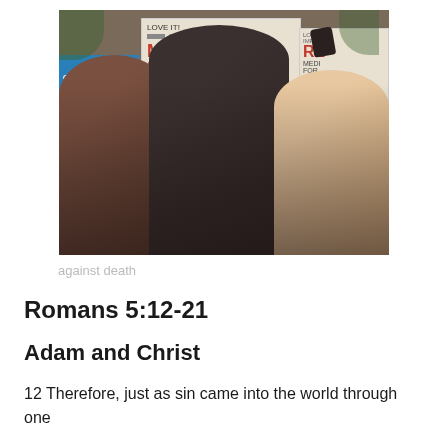[Figure (photo): Protest photo showing three young people shouting at a rally, holding signs that read 'LOVE IT! IMPROVE IT! MEDICARE FOR ALL!' and other signs. A Black man in the center raises a fist, flanked by a South Asian boy on the left and a white woman on the right.]
against death
Romans 5:12-21
Adam and Christ
12 Therefore, just as sin came into the world through one